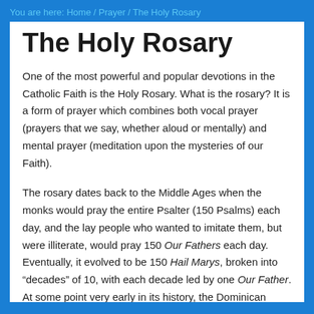You are here: Home / Prayer / The Holy Rosary
The Holy Rosary
One of the most powerful and popular devotions in the Catholic Faith is the Holy Rosary. What is the rosary? It is a form of prayer which combines both vocal prayer (prayers that we say, whether aloud or mentally) and mental prayer (meditation upon the mysteries of our Faith).
The rosary dates back to the Middle Ages when the monks would pray the entire Psalter (150 Psalms) each day, and the lay people who wanted to imitate them, but were illiterate, would pray 150 Our Fathers each day. Eventually, it evolved to be 150 Hail Marys, broken into “decades” of 10, with each decade led by one Our Father. At some point very early in its history, the Dominican Order began the promotion of the rosary, including the use of meditations upon 15 of the central mysteries of the life of Our Blessed Lord and that of Our